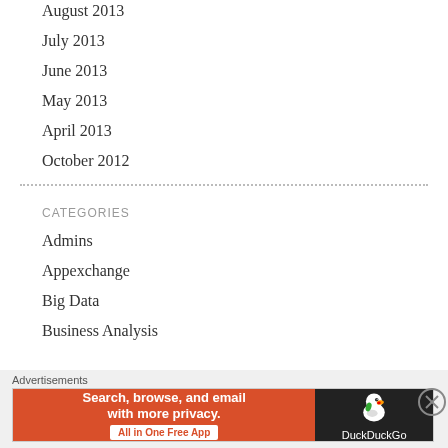August 2013
July 2013
June 2013
May 2013
April 2013
October 2012
CATEGORIES
Admins
Appexchange
Big Data
Business Analysis
Advertisements
[Figure (other): DuckDuckGo advertisement banner: 'Search, browse, and email with more privacy. All in One Free App' with DuckDuckGo logo on dark background]